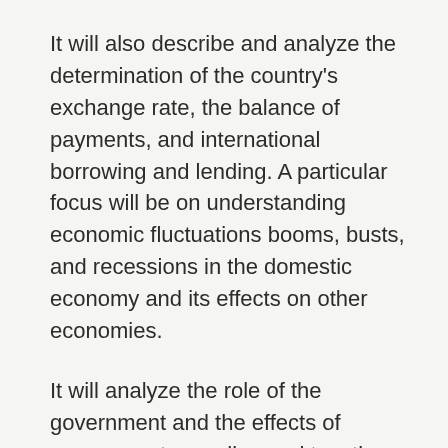It will also describe and analyze the determination of the country's exchange rate, the balance of payments, and international borrowing and lending. A particular focus will be on understanding economic fluctuations booms, busts, and recessions in the domestic economy and its effects on other economies.
It will analyze the role of the government and the effects of government spending and taxation on the economy. Furthermore, it will describe and analyze the determination of the quantity of money and interest rates in the economy and the role of the country's central bank.
It examines the basis and pattern of international trade and the effects of a country's trade policy on the economy. Business ethics is applied ethics. Explores the